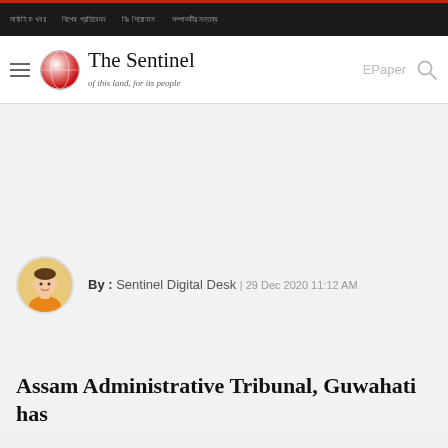The Sentinel — of this land, for its people
By : Sentinel Digital Desk | 29 Dec 2020 11:12 AM
Assam Administrative Tribunal, Guwahati has